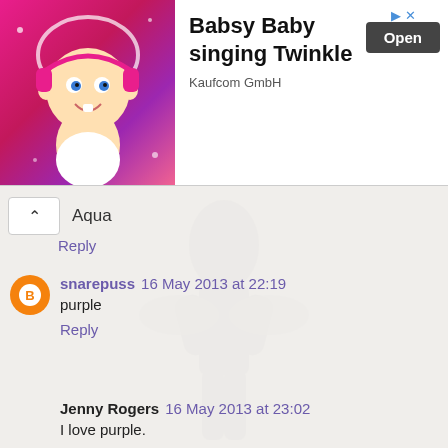[Figure (screenshot): App advertisement banner for Babsy Baby singing Twinkle by Kaufcom GmbH with animated baby image on pink background and Open button]
Aqua
Reply
snarepuss 16 May 2013 at 22:19
purple
Reply
Jenny Rogers 16 May 2013 at 23:02
I love purple.
Reply
diva1977 17 May 2013 at 00:39